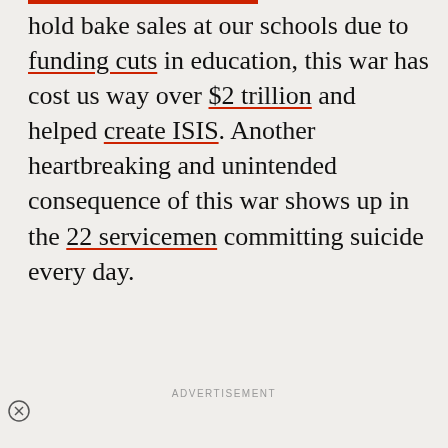hold bake sales at our schools due to funding cuts in education, this war has cost us way over $2 trillion and helped create ISIS. Another heartbreaking and unintended consequence of this war shows up in the 22 servicemen committing suicide every day.
ADVERTISEMENT
[Figure (screenshot): Advertisement area with a video overlay showing 'Lost on Purpos...' title with trees/nature background and a play button, alongside travelstoke ad text and background image of two people with arms raised at sunset.]